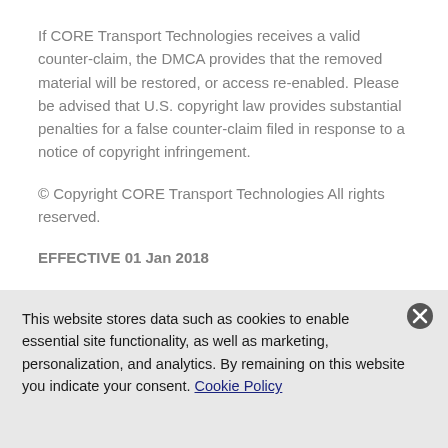If CORE Transport Technologies receives a valid counter-claim, the DMCA provides that the removed material will be restored, or access re-enabled. Please be advised that U.S. copyright law provides substantial penalties for a false counter-claim filed in response to a notice of copyright infringement.
© Copyright CORE Transport Technologies All rights reserved.
EFFECTIVE 01 Jan 2018
Terms and conditions subject to change without prior
This website stores data such as cookies to enable essential site functionality, as well as marketing, personalization, and analytics. By remaining on this website you indicate your consent. Cookie Policy